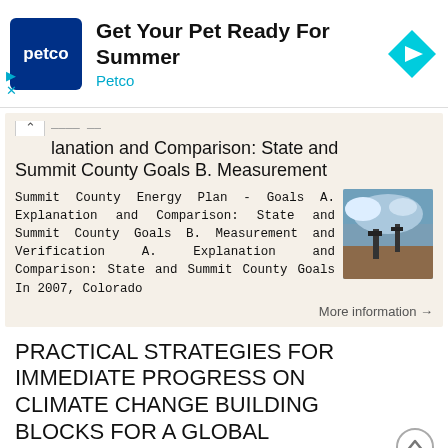[Figure (other): Petco advertisement banner: Petco logo (dark blue square with 'petco' text), 'Get Your Pet Ready For Summer' title, 'Petco' subtitle in cyan, navigation arrow icon in cyan diamond shape, play and close controls]
planation and Comparison: State and Summit County Goals B. Measurement
Summit County Energy Plan - Goals A. Explanation and Comparison: State and Summit County Goals B. Measurement and Verification A. Explanation and Comparison: State and Summit County Goals In 2007, Colorado
More information →
PRACTICAL STRATEGIES FOR IMMEDIATE PROGRESS ON CLIMATE CHANGE BUILDING BLOCKS FOR A GLOBAL
PRACTICAL STRATEGIES FOR IMMEDIATE